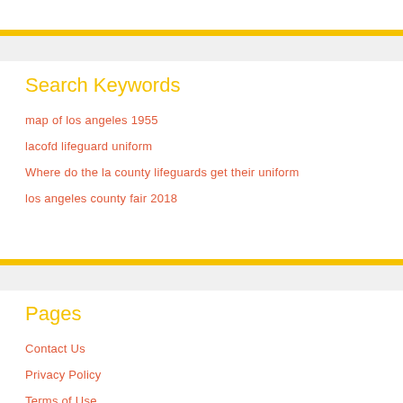Search Keywords
map of los angeles 1955
lacofd lifeguard uniform
Where do the la county lifeguards get their uniform
los angeles county fair 2018
Pages
Contact Us
Privacy Policy
Terms of Use